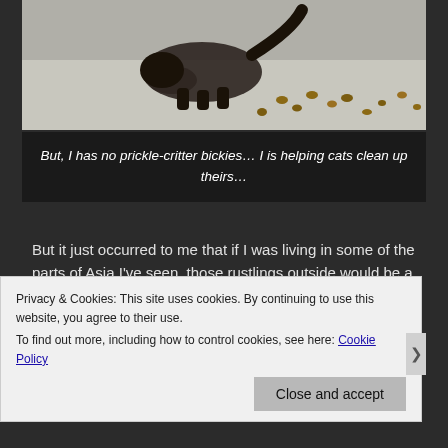[Figure (photo): Photo of an animal (likely a raccoon or hedgehog) on a concrete surface with nuts/acorns scattered around]
But, I has no prickle-critter bickies… I is helping cats clean up theirs…
But it just occurred to me that if I was living in some of the parts of Asia I've seen, those rustlings outside would be a whole lot creepier. In India, they could be the rustlings of a tiger, or a rabid monkey or a cobra. In Thailand they could be a rabid street dog, an escaped and somewhat unbalanced elephant or buffalo (neither of which is a happy option) or also a cobra. In Cambodia, well, I'm not entirely sure what
Privacy & Cookies: This site uses cookies. By continuing to use this website, you agree to their use.
To find out more, including how to control cookies, see here: Cookie Policy
Close and accept